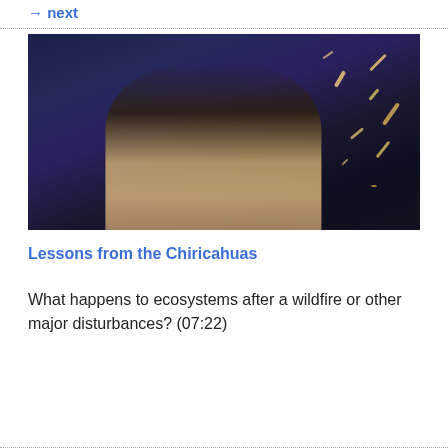→ next
[Figure (photo): A person wearing glasses looking up, illuminated against a dark blue night background with fire sparks/embers visible on the right side of the image.]
Lessons from the Chiricahuas
What happens to ecosystems after a wildfire or other major disturbances? (07:22)